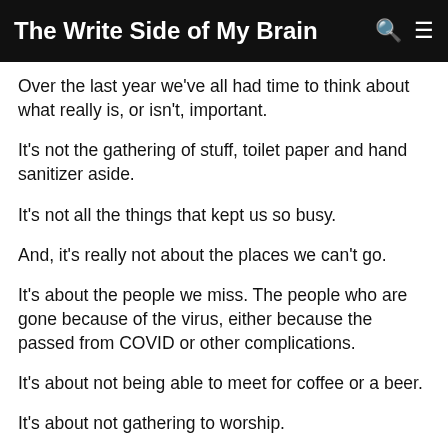The Write Side of My Brain
Over the last year we've all had time to think about what really is, or isn't, important.
It's not the gathering of stuff, toilet paper and hand sanitizer aside.
It's not all the things that kept us so busy.
And, it's really not about the places we can't go.
It's about the people we miss. The people who are gone because of the virus, either because the passed from COVID or other complications.
It's about not being able to meet for coffee or a beer.
It's about not gathering to worship.
It's about not just hanging out with friends…